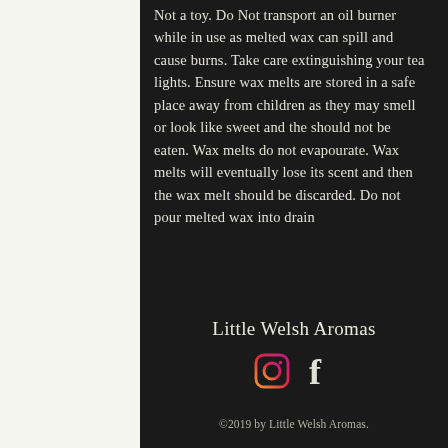Not a toy. Do Not transport an oil burner while in use as melted wax can spill and cause burns. Take care extinguishing your tea lights. Ensure wax melts are stored in a safe place away from children as they may smell or look like sweet and the should not be eaten. Wax melts do not evapourate. Wax melts will eventually lose its scent and then the wax melt should be discarded. Do not pour melted wax into drain
Little Welsh Aromas
[Figure (logo): Instagram and Facebook social media icons]
©2019 by Little Welsh Aromas.